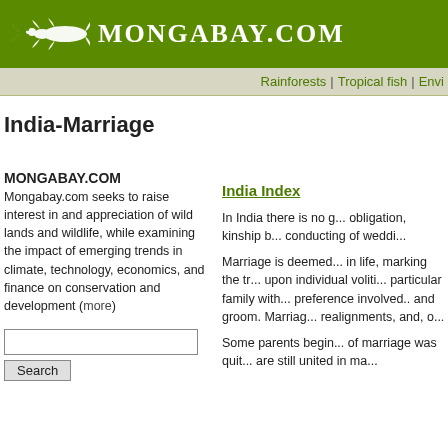MONGABAY.COM
Rainforests | Tropical fish | Envi...
India-Marriage
MONGABAY.COM
Mongabay.com seeks to raise interest in and appreciation of wild lands and wildlife, while examining the impact of emerging trends in climate, technology, economics, and finance on conservation and development (more)
India Index
In India there is no g... obligation, kinship bo... conducting of weddi...
Marriage is deemed... in life, marking the tr... upon individual voliti... particular family with... preference involved. ... and groom. Marriagé... realignments, and, o...
Some parents begin... of marriage was quit... are still united in ma...